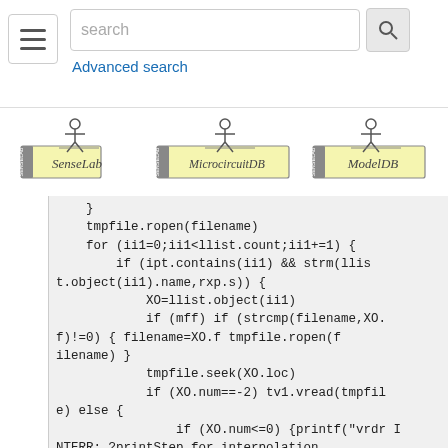[Figure (screenshot): Navigation bar with hamburger menu, search box with placeholder 'search', search button with magnifier icon, and 'Advanced search' link below]
[Figure (screenshot): Three logos: SenseLab, MicrocircuitDB, ModelDB — each with a cartoon figure and yellow label band]
}
    tmpfile.ropen(filename)
    for (ii1=0;ii1<llist.count;ii1+=1) {
        if (ipt.contains(ii1) && strm(llist.object(ii1).name,rxp.s)) {
            XO=llist.object(ii1)
            if (mff) if (strcmp(filename,XO.f)!=0) { filename=XO.f tmpfile.ropen(filename) }
            tmpfile.seek(XO.loc)
            if (XO.num==-2) tv1.vread(tmpfile) else {
                if (XO.num<=0) {printf("vrdr INTERR; ?printStep for interpolation\n") err()}
                tv1.indgen(0,tstop+0.01,XO.num) }
            v1.vread(tmpfile)
            v2.resize(0)